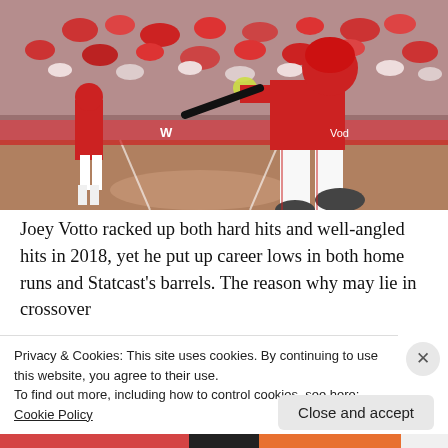[Figure (photo): Baseball player Joey Votto in a red Cincinnati Reds uniform mid-swing at bat, with another player visible in the background and a large crowd in the stands.]
Joey Votto racked up both hard hits and well-angled hits in 2018, yet he put up career lows in both home runs and Statcast's barrels. The reason why may lie in crossover
Privacy & Cookies: This site uses cookies. By continuing to use this website, you agree to their use.
To find out more, including how to control cookies, see here: Cookie Policy
Close and accept